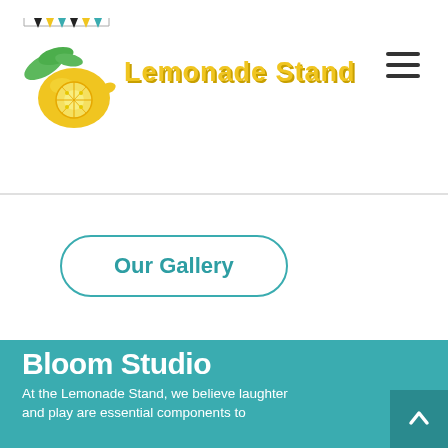[Figure (logo): Lemonade Stand logo with illustrated lemon, leaves, and bunting banner. Text reads 'Lemonade Stand' in yellow bubbly font.]
[Figure (illustration): Hamburger menu icon (three horizontal lines) in top right corner]
Our Gallery
Bloom Studio
At the Lemonade Stand, we believe laughter and play are essential components to